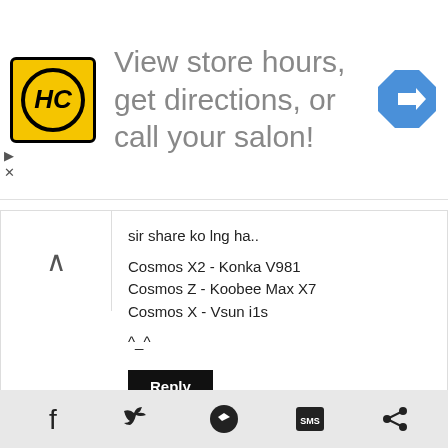[Figure (infographic): Advertisement banner with HC logo, text 'View store hours, get directions, or call your salon!', and a navigation arrow icon]
sir share ko lng ha..

Cosmos X2 - Konka V981
Cosmos Z - Koobee Max X7
Cosmos X - Vsun i1s

^_^
Reply
Jeremiah Onipa Juan
July 25, 2013 at 3:12 PM
wow ang ganda! ang AFTER SERVICE ang bagsak!
Reply
[Figure (infographic): Bottom share bar with Facebook, Twitter, Messenger, SMS, and share icons]